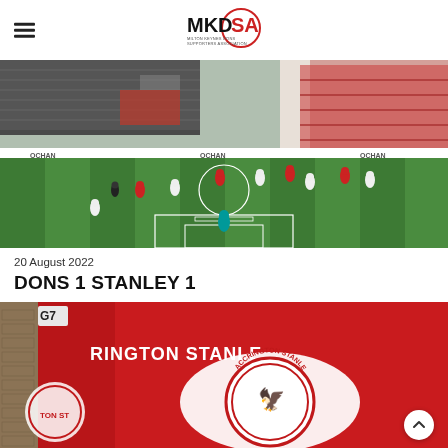MKDSA (Milton Keynes Dons Supporters Association) logo with hamburger menu
[Figure (photo): Football match photo showing a game at Stadium MK. Players in white (MK Dons) and red (Accrington Stanley) on green pitch, with mostly empty stands visible in the background. A goalkeeper in teal stands near the goal.]
20 August 2022
DONS 1 STANLEY 1
[Figure (photo): Photo of red stadium signage and gates with 'Accrington Stanley' club crest/logo visible, brick wall background, G7 sign visible top-left. A white circular scroll-to-top button with an upward chevron is overlaid on the bottom-right.]